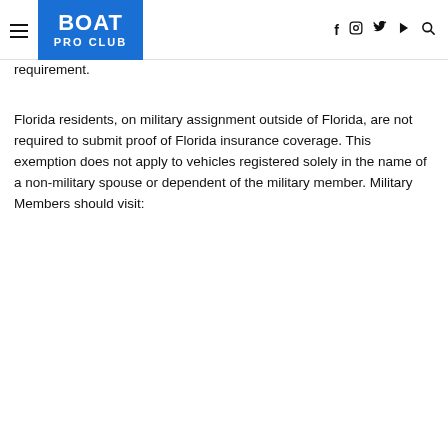BOAT PRO CLUB
requirement.
Florida residents, on military assignment outside of Florida, are not required to submit proof of Florida insurance coverage. This exemption does not apply to vehicles registered solely in the name of a non-military spouse or dependent of the military member. Military Members should visit: